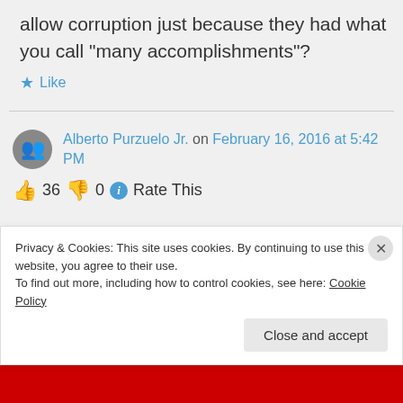allow corruption just because they had what you call “many accomplishments”?
★ Like
Alberto Purzuelo Jr. on February 16, 2016 at 5:42 PM
👍 36 👎 0 ⓘ Rate This
Privacy & Cookies: This site uses cookies. By continuing to use this website, you agree to their use.
To find out more, including how to control cookies, see here: Cookie Policy
Close and accept